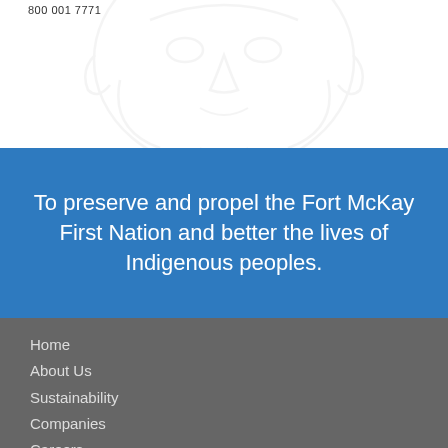800 001 7771
[Figure (illustration): Faint watermark illustration of a face/head outline in light gray on white background]
To preserve and propel the Fort McKay First Nation and better the lives of Indigenous peoples.
Home
About Us
Sustainability
Companies
Careers
Newsroom
Contact Us